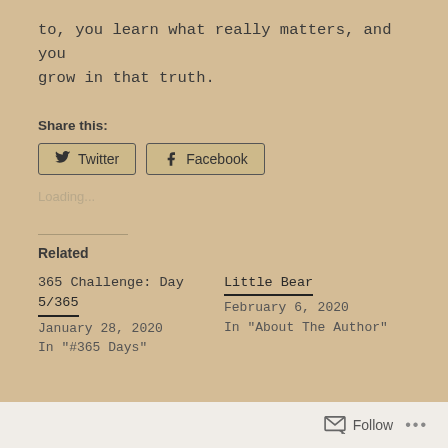to, you learn what really matters, and you grow in that truth.
Share this:
[Figure (other): Twitter and Facebook share buttons]
Loading...
Related
365 Challenge: Day 5/365
January 28, 2020
In "#365 Days"
Little Bear
February 6, 2020
In "About The Author"
Follow ...